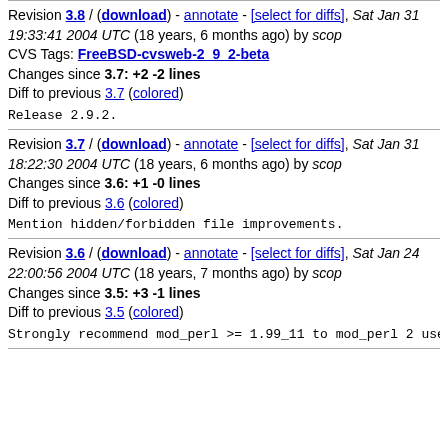Revision 3.8 / (download) - annotate - [select for diffs], Sat Jan 31 19:33:41 2004 UTC (18 years, 6 months ago) by scop
CVS Tags: FreeBSD-cvsweb-2_9_2-beta
Changes since 3.7: +2 -2 lines
Diff to previous 3.7 (colored)
Release 2.9.2.
Revision 3.7 / (download) - annotate - [select for diffs], Sat Jan 31 18:22:30 2004 UTC (18 years, 6 months ago) by scop
Changes since 3.6: +1 -0 lines
Diff to previous 3.6 (colored)
Mention hidden/forbidden file improvements.
Revision 3.6 / (download) - annotate - [select for diffs], Sat Jan 24 22:00:56 2004 UTC (18 years, 7 months ago) by scop
Changes since 3.5: +3 -1 lines
Diff to previous 3.5 (colored)
Strongly recommend mod_perl >= 1.99_11 to mod_perl 2 user